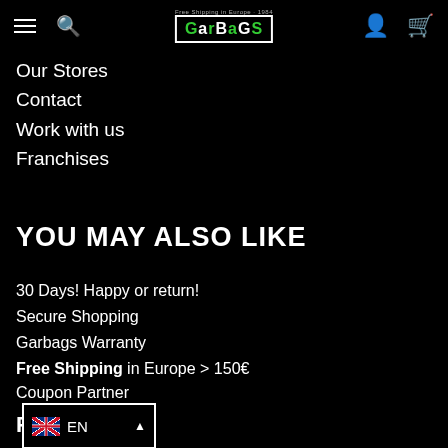GarBags — Free Shipping in Europe · 1984
Our Stores
Contact
Work with us
Franchises
YOU MAY ALSO LIKE
30 Days! Happy or return!
Secure Shopping
Garbags Warranty
Free Shipping in Europe > 150€
Coupon Partner
EN
FOLLOW US